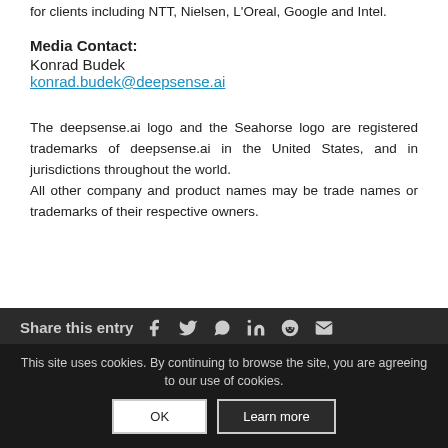for clients including NTT, Nielsen, L'Oreal, Google and Intel.
Media Contact:
Konrad Budek
konrad.budek@deepsense.ai
The deepsense.ai logo and the Seahorse logo are registered trademarks of deepsense.ai in the United States, and in jurisdictions throughout the world.
All other company and product names may be trade names or trademarks of their respective owners.
Share this entry
This site uses cookies. By continuing to browse the site, you are agreeing to our use of cookies.